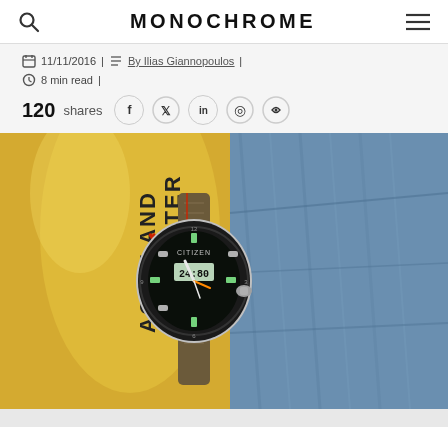MONOCHROME
11/11/2016 | By Ilias Giannopoulos | 8 min read |
120 shares
[Figure (photo): Citizen Promaster Aqualand watch with dark dial and brown NATO strap, resting on a yellow Promaster Aqualand case with blue denim in the background.]